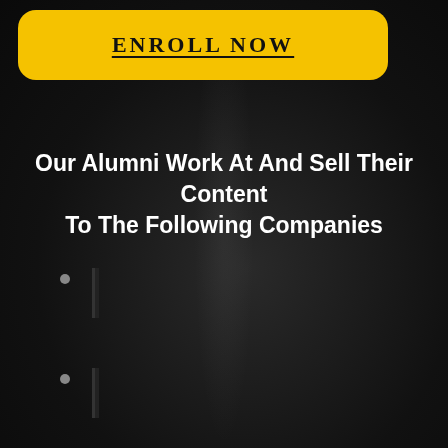ENROLL NOW
Our Alumni Work At And Sell Their Content To The Following Companies